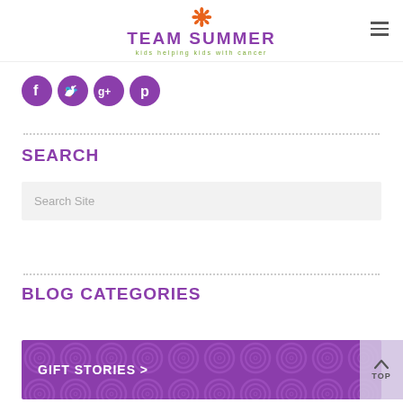TEAM SUMMER kids helping kids with cancer
[Figure (logo): Team Summer logo with sunflower and tagline 'kids helping kids with cancer']
[Figure (infographic): Social media icons: Facebook, Twitter, Google+, Pinterest — purple circles]
SEARCH
Search Site
BLOG CATEGORIES
GIFT STORIES >